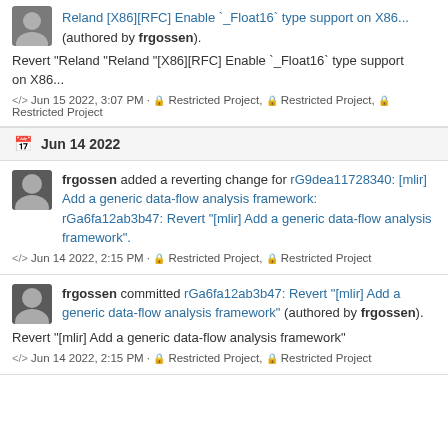Reland [X86][RFC] Enable `_Float16` type support on X86... (authored by frgossen).
Revert "Reland "Reland "[X86][RFC] Enable `_Float16` type support on X86...
</> Jun 15 2022, 3:07 PM · Restricted Project, Restricted Project, Restricted Project
Jun 14 2022
frgossen added a reverting change for rG9dea11728340: [mlir] Add a generic data-flow analysis framework: rGa6fa12ab3b47: Revert "[mlir] Add a generic data-flow analysis framework".
</> Jun 14 2022, 2:15 PM · Restricted Project, Restricted Project
frgossen committed rGa6fa12ab3b47: Revert "[mlir] Add a generic data-flow analysis framework" (authored by frgossen).
Revert "[mlir] Add a generic data-flow analysis framework"
</> Jun 14 2022, 2:15 PM · Restricted Project, Restricted Project